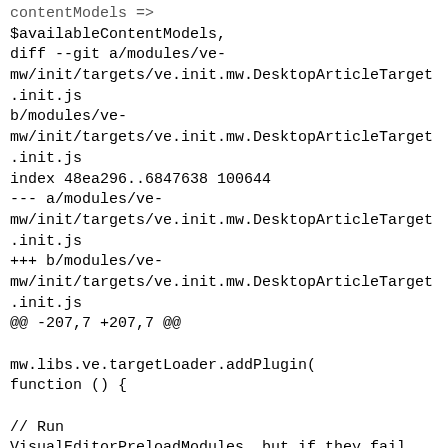contentModels =>
$availableContentModels,
diff --git a/modules/ve-mw/init/targets/ve.init.mw.DesktopArticleTarget.init.js
b/modules/ve-mw/init/targets/ve.init.mw.DesktopArticleTarget.init.js
index 48ea296..6847638 100644
--- a/modules/ve-mw/init/targets/ve.init.mw.DesktopArticleTarget.init.js
+++ b/modules/ve-mw/init/targets/ve.init.mw.DesktopArticleTarget.init.js
@@ -207,7 +207,7 @@

mw.libs.ve.targetLoader.addPlugin(
function () {

// Run VisualEditorPreloadModules, but if they fail,
we still want to continue